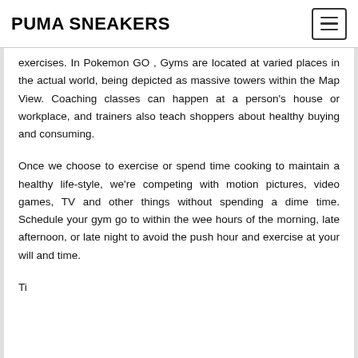PUMA SNEAKERS
exercises. In Pokemon GO , Gyms are located at varied places in the actual world, being depicted as massive towers within the Map View. Coaching classes can happen at a person's house or workplace, and trainers also teach shoppers about healthy buying and consuming.
Once we choose to exercise or spend time cooking to maintain a healthy life-style, we're competing with motion pictures, video games, TV and other things without spending a dime time. Schedule your gym go to within the wee hours of the morning, late afternoon, or late night to avoid the push hour and exercise at your will and time.
Ti...